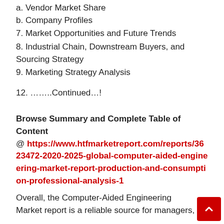a. Vendor Market Share
b. Company Profiles
7. Market Opportunities and Future Trends
8. Industrial Chain, Downstream Buyers, and Sourcing Strategy
9. Marketing Strategy Analysis
12.  ……..Continued…!
Browse Summary and Complete Table of Content @ https://www.htfmarketreport.com/reports/3623472-2020-2025-global-computer-aided-engineering-market-report-production-and-consumption-professional-analysis-1
Overall, the Computer-Aided Engineering Market report is a reliable source for managers,